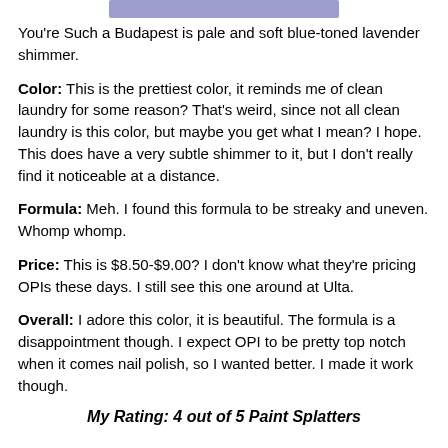[Figure (photo): Lavender/purple shimmer nail polish color swatch banner image]
You're Such a Budapest is pale and soft blue-toned lavender shimmer.
Color: This is the prettiest color, it reminds me of clean laundry for some reason? That's weird, since not all clean laundry is this color, but maybe you get what I mean? I hope. This does have a very subtle shimmer to it, but I don't really find it noticeable at a distance.
Formula: Meh. I found this formula to be streaky and uneven. Whomp whomp.
Price: This is $8.50-$9.00? I don't know what they're pricing OPIs these days. I still see this one around at Ulta.
Overall: I adore this color, it is beautiful. The formula is a disappointment though. I expect OPI to be pretty top notch when it comes nail polish, so I wanted better. I made it work though.
My Rating: 4 out of 5 Paint Splatters